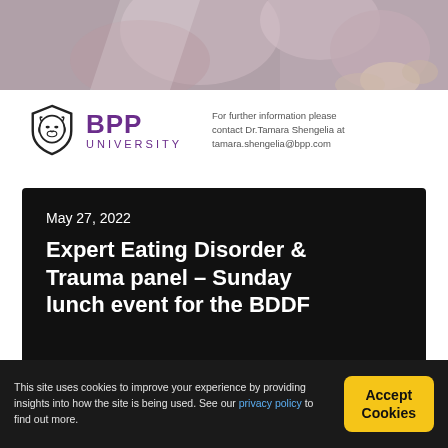[Figure (photo): Cropped photo of people, blurred/abstract, used as header banner image]
[Figure (logo): BPP University shield logo with lion face and text 'BPP UNIVERSITY' in purple]
For further information please contact Dr.Tamara Shengelia at tamara.shengelia@bpp.com
May 27, 2022
Expert Eating Disorder & Trauma panel – Sunday lunch event for the BDDF
This site uses cookies to improve your experience by providing insights into how the site is being used. See our privacy policy to find out more.
Accept Cookies